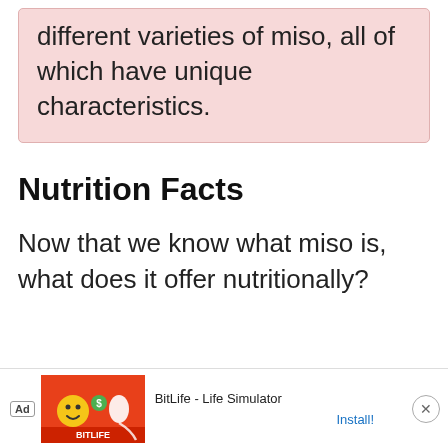different varieties of miso, all of which have unique characteristics.
Nutrition Facts
Now that we know what miso is, what does it offer nutritionally?
[Figure (other): Advertisement banner for BitLife - Life Simulator app with red/orange background, emoji characters, install button, and close button]